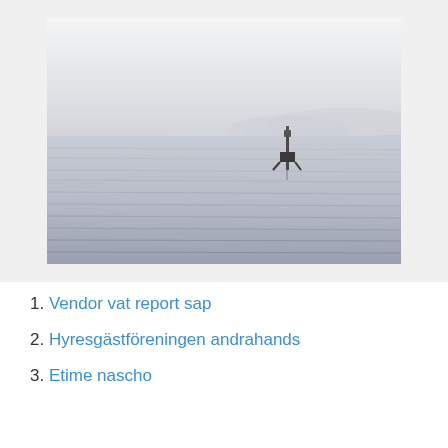[Figure (photo): Black and white photograph of a calm sea with a small navigation buoy or marker structure in the middle distance, mountains visible in the hazy background, still water with gentle ripples in the foreground.]
1. Vendor vat report sap
2. Hyresgästföreningen andrahands
3. Etime nascho